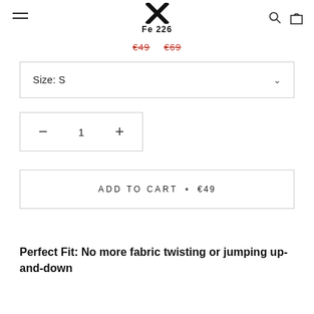Fe 226
€49  €69
Size: S
— 1 +
ADD TO CART • €49
Perfect Fit: No more fabric twisting or jumping up-and-down